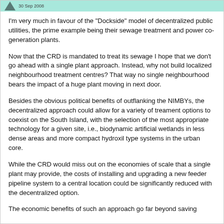30 Sep 2008
I'm very much in favour of the "Dockside" model of decentralized public utilities, the prime example being their sewage treatment and power co-generation plants.
Now that the CRD is mandated to treat its sewage I hope that we don't go ahead with a single plant approach. Instead, why not build localized neighbourhood treatment centres? That way no single neighbourhood bears the impact of a huge plant moving in next door.
Besides the obvious political benefits of outflanking the NIMBYs, the decentralized approach could allow for a variety of treament options to coexist on the South Island, with the selection of the most appropriate technology for a given site, i.e., biodynamic artificial wetlands in less dense areas and more compact hydroxil type systems in the urban core.
While the CRD would miss out on the economies of scale that a single plant may provide, the costs of installing and upgrading a new feeder pipeline system to a central location could be significantly reduced with the decentralized option.
The economic benefits of such an approach go far beyond saving